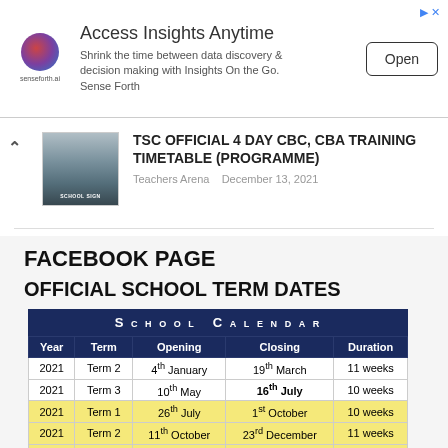[Figure (screenshot): Advertisement banner for senseforth.ai - Access Insights Anytime. Shrink the time between data discovery & decision making with Insights On the Go. Sense Forth. Open button shown.]
TSC OFFICIAL 4 DAY CBC, CBA TRAINING TIMETABLE (PROGRAMME)
Teachers Arena   December 13, 2021
FACEBOOK PAGE
OFFICIAL SCHOOL TERM DATES
| Year | Term | Opening | Closing | Duration |
| --- | --- | --- | --- | --- |
| 2021 | Term 2 | 4th January | 19th March | 11 weeks |
| 2021 | Term 3 | 10th May | 16th July | 10 weeks |
| 2021 | Term 1 | 26th July | 1st October | 10 weeks |
| 2021 | Term 2 | 11th October | 23rd December | 11 weeks |
| 2022 | Term 3 | 3rd January | 4th March | 9 weeks |
| 2022 | Term 1 | 25th April | 1st July | 10 weeks |